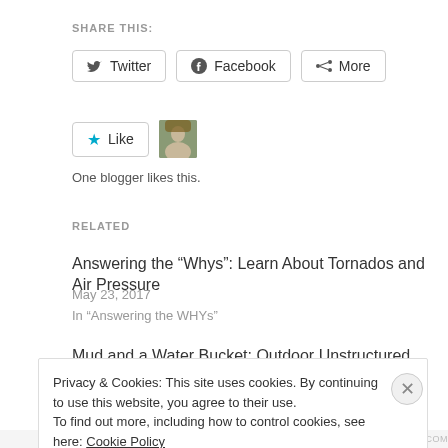SHARE THIS:
Twitter  Facebook  More
Like
One blogger likes this.
RELATED
Answering the “Whys”: Learn About Tornados and Air Pressure
May 23, 2017
In “Answering the WHYs”
Mud and a Water Bucket: Outdoor Unstructured Play for
Privacy & Cookies: This site uses cookies. By continuing to use this website, you agree to their use.
To find out more, including how to control cookies, see here: Cookie Policy
Close and accept